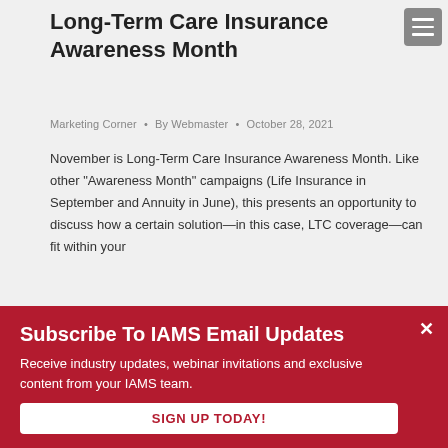Long-Term Care Insurance Awareness Month
Marketing Corner · By Webmaster · October 28, 2021
November is Long-Term Care Insurance Awareness Month. Like other “Awareness Month” campaigns (Life Insurance in September and Annuity in June), this presents an opportunity to discuss how a certain solution—in this case, LTC coverage—can fit within your
This website uses cookies
We use cookies on our website to give you the most relevant
Subscribe To IAMS Email Updates
Receive industry updates, webinar invitations and exclusive content from your IAMS team.
SIGN UP TODAY!